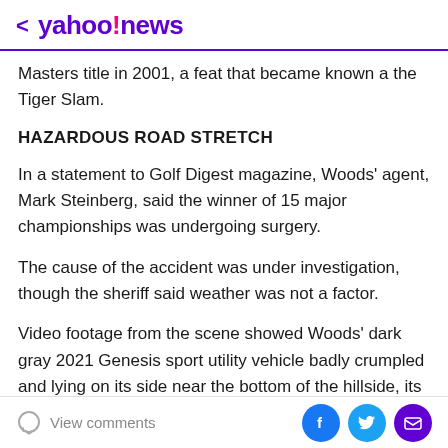< yahoo!news
Masters title in 2001, a feat that became known a the Tiger Slam.
HAZARDOUS ROAD STRETCH
In a statement to Golf Digest magazine, Woods' agent, Mark Steinberg, said the winner of 15 major championships was undergoing surgery.
The cause of the accident was under investigation, though the sheriff said weather was not a factor.
Video footage from the scene showed Woods' dark gray 2021 Genesis sport utility vehicle badly crumpled and lying on its side near the bottom of the hillside, its
View comments